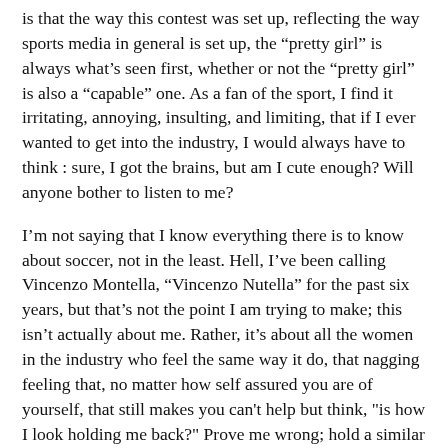is that the way this contest was set up, reflecting the way sports media in general is set up, the “pretty girl” is always what’s seen first, whether or not the “pretty girl” is also a “capable” one. As a fan of the sport, I find it irritating, annoying, insulting, and limiting, that if I ever wanted to get into the industry, I would always have to think : sure, I got the brains, but am I cute enough? Will anyone bother to listen to me?
I’m not saying that I know everything there is to know about soccer, not in the least. Hell, I’ve been calling Vincenzo Montella, “Vincenzo Nutella” for the past six years, but that’s not the point I am trying to make; this isn’t actually about me. Rather, it’s about all the women in the industry who feel the same way it do, that nagging feeling that, no matter how self assured you are of yourself, that still makes you can't help but think, "is how I look holding me back?" Prove me wrong; hold a similar contest (er, not TFC, this one was so awful that I hope they never do it again. Seriously, how many people made it through to the